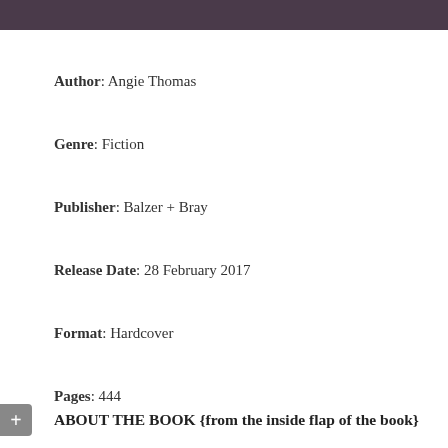[Figure (photo): Partial photo at top of page, dark tones showing part of a person against dark background]
Author: Angie Thomas
Genre: Fiction
Publisher: Balzer + Bray
Release Date: 28 February 2017
Format: Hardcover
Pages: 444
ABOUT THE BOOK {from the inside flap of the book}